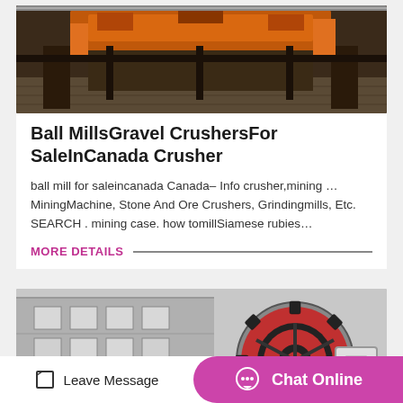[Figure (photo): Industrial mining machinery with orange/rust colored equipment and metal framework photographed in a factory or yard setting.]
Ball MillsGravel CrushersFor SaleInCanada Crusher
ball mill for saleincanada Canada– Info crusher,mining … MiningMachine, Stone And Ore Crushers, Grindingmills, Etc. SEARCH . mining case. how tomillSiamese rubies…
MORE DETAILS
[Figure (photo): Black and white photo of a large red gear/sprocket wheel for industrial mining or grinding mill equipment, with a factory building in the background.]
Leave Message
Chat Online